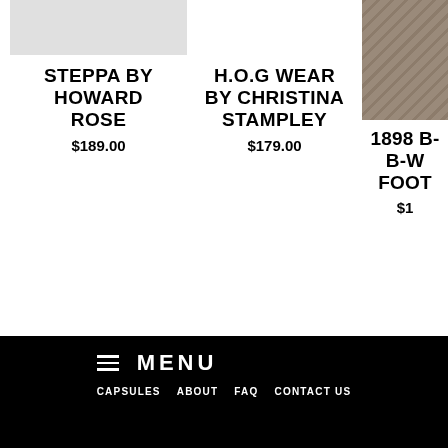[Figure (photo): Product image placeholder - light gray box for Steppa by Howard Rose]
STEPPA BY HOWARD ROSE
$189.00
H.O.G WEAR BY CHRISTINA STAMPLEY
$179.00
[Figure (photo): Partial product photo for 1898 B-W FOOT item]
1898 B-W FOOT
$1...
[Figure (illustration): Instagram icon circle]
[Figure (illustration): Facebook icon circle]
MENU | CAPSULES  ABOUT  FAQ  CONTACT US